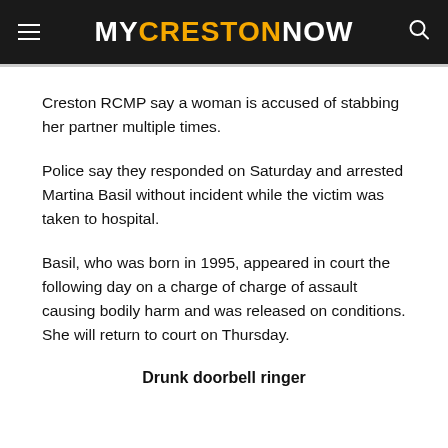MYCRESTONNOW
Creston RCMP say a woman is accused of stabbing her partner multiple times.
Police say they responded on Saturday and arrested Martina Basil without incident while the victim was taken to hospital.
Basil, who was born in 1995, appeared in court the following day on a charge of charge of assault causing bodily harm and was released on conditions. She will return to court on Thursday.
Drunk doorbell ringer